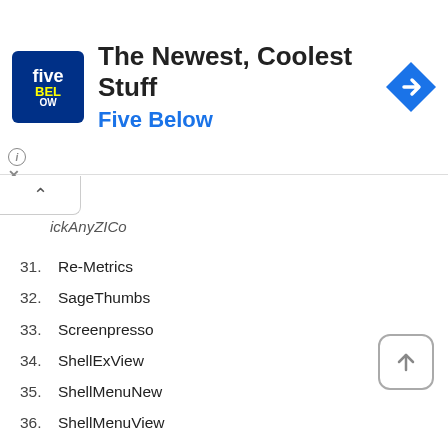[Figure (other): Five Below advertisement banner with logo and navigation arrow icon]
ickAnyZICo (partial, cropped at top)
31. Re-Metrics
32. SageThumbs
33. Screenpresso
34. ShellExView
35. ShellMenuNew
36. ShellMenuView
37. SnapCrab
38. SVG Viewer Extension for Windows Explorer
39. Tablacus Explorer
40. TresGrep
41. WinRAR